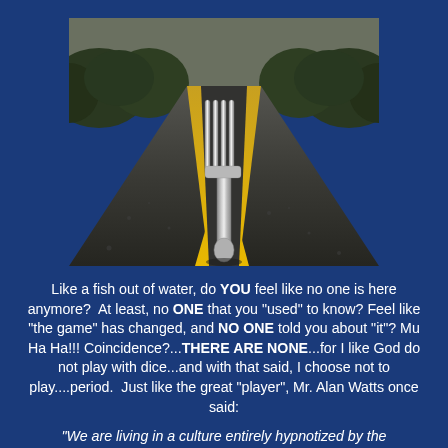[Figure (photo): A close-up photograph of a fork standing upright on the center line of a road, with yellow painted road markings on either side, and a tree-lined road receding into the distance.]
Like a fish out of water, do YOU feel like no one is here anymore?  At least, no ONE that you "used" to know? Feel like "the game" has changed, and NO ONE told you about "it"? Mu Ha Ha!!! Coincidence?...THERE ARE NONE...for I like God do not play with dice...and with that said, I choose not to play....period.  Just like the great "player", Mr. Alan Watts once said:
“We are living in a culture entirely hypnotized by the